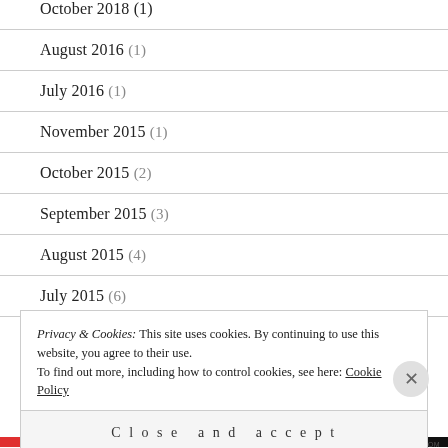October 2018 (1)
August 2016 (1)
July 2016 (1)
November 2015 (1)
October 2015 (2)
September 2015 (3)
August 2015 (4)
July 2015 (6)
Privacy & Cookies: This site uses cookies. By continuing to use this website, you agree to their use. To find out more, including how to control cookies, see here: Cookie Policy
Close and accept